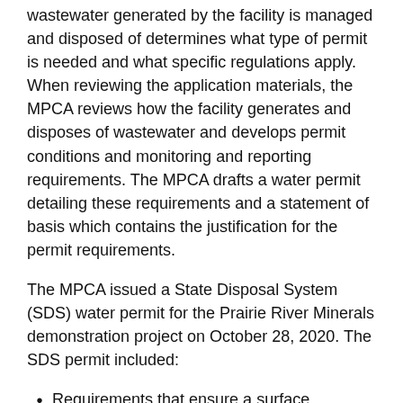wastewater generated by the facility is managed and disposed of determines what type of permit is needed and what specific regulations apply. When reviewing the application materials, the MPCA reviews how the facility generates and disposes of wastewater and develops permit conditions and monitoring and reporting requirements. The MPCA drafts a water permit detailing these requirements and a statement of basis which contains the justification for the permit requirements.
The MPCA issued a State Disposal System (SDS) water permit for the Prairie River Minerals demonstration project on October 28, 2020. The SDS permit included:
Requirements that ensure a surface discharge does not occur and provides protections to groundwater quality.
Provisions that requires Prairie River Minerals to